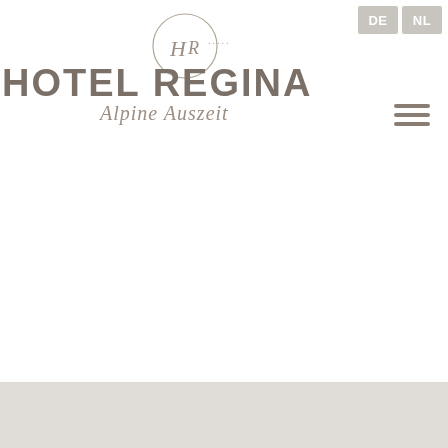Hotel Regina - Alpine Auszeit
[Figure (logo): Hotel Regina logo with HR monogram circle and script 'Alpine Auszeit' tagline]
DE  NL
+43 (0) 5256 6312
We advise you with pleasure
also personally